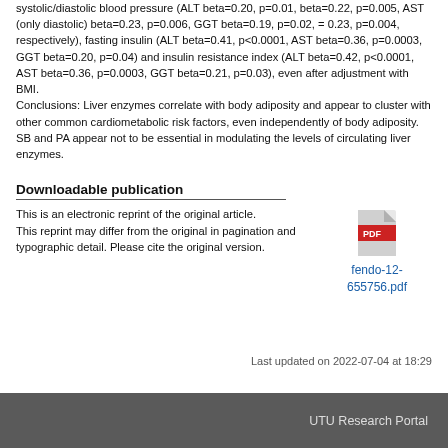systolic/diastolic blood pressure (ALT beta=0.20, p=0.01, beta=0.22, p=0.005, AST (only diastolic) beta=0.23, p=0.006, GGT beta=0.19, p=0.02, = 0.23, p=0.004, respectively), fasting insulin (ALT beta=0.41, p<0.0001, AST beta=0.36, p=0.0003, GGT beta=0.20, p=0.04) and insulin resistance index (ALT beta=0.42, p<0.0001, AST beta=0.36, p=0.0003, GGT beta=0.21, p=0.03), even after adjustment with BMI. Conclusions: Liver enzymes correlate with body adiposity and appear to cluster with other common cardiometabolic risk factors, even independently of body adiposity. SB and PA appear not to be essential in modulating the levels of circulating liver enzymes.
Downloadable publication
This is an electronic reprint of the original article.
This reprint may differ from the original in pagination and typographic detail. Please cite the original version.
[Figure (other): PDF file icon (red and white document icon)]
fendo-12-655756.pdf
Last updated on 2022-07-04 at 18:29
UTU Research Portal